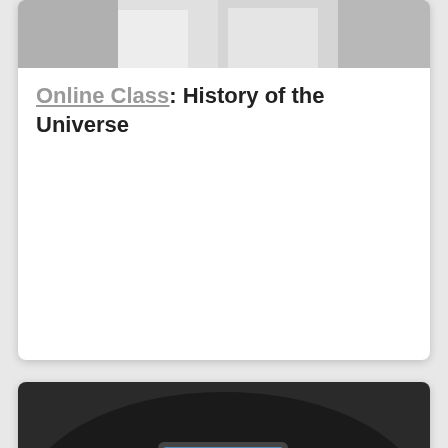[Figure (photo): Two people in white coats / medical uniforms visible from waist down, cropped top portion of image.]
Online Class: History of the Universe
[Figure (photo): Overhead view of a business meeting around a dark table with a laptop showing a bar chart, people pointing at the screen, papers, and a coffee cup.]
How to Restore and Backup MySQL Databases